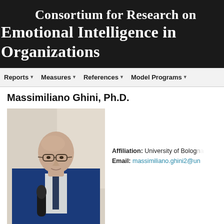Consortium for Research on Emotional Intelligence in Organizations
Reports   Measures   References   Model Programs
Massimiliano Ghini, Ph.D.
[Figure (photo): Photo of Massimiliano Ghini, a bald man wearing glasses and a blue suit, speaking into a microphone]
Affiliation: University of Bologna
Email: massimiliano.ghini2@un...
Biography
Organizational Behaviour Professor at Bologna Business School (BBS). Hum...